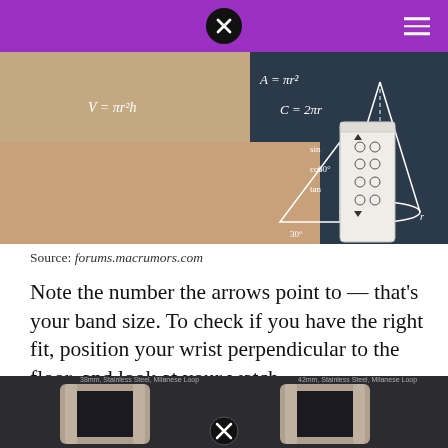[Figure (photo): Photo of a person's wrist with a paper measurement guide attached, overlaid with mathematical formulas on a chalkboard background]
Source: forums.macrumors.com
Note the number the arrows point to — that's your band size. To check if you have the right fit, position your wrist perpendicular to the floor, and look at your watch.
[Figure (photo): Two wrists side-by-side wearing Apple Watch with Milanese Loop bands — 38mm Stainless Steel, Milanese Loop and 42mm, Stainless Steel, Milanese Loop]